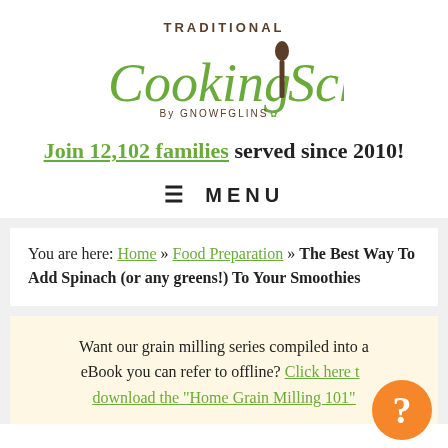[Figure (logo): Traditional Cooking School by GNOWFGLINS logo with green cursive text and spoon icon]
Join 12,102 families served since 2010!
≡ MENU
You are here: Home » Food Preparation » The Best Way To Add Spinach (or any greens!) To Your Smoothies
Want our grain milling series compiled into a eBook you can refer to offline? Click here to download the "Home Grain Milling 101"